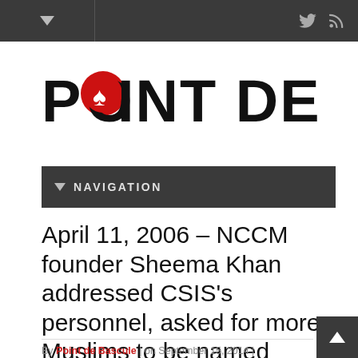Point de Bascule — navigation header bar with Twitter and RSS icons
[Figure (logo): Point de Bascule logo — large bold uppercase text with a red circle containing a spade/poker chip symbol replacing the O in POINT]
NAVIGATION
April 11, 2006 – NCCM founder Sheema Khan addressed CSIS's personnel, asked for more Muslims to be named judges and security advisors
By Point de Bascule | on September 15, 2014 |